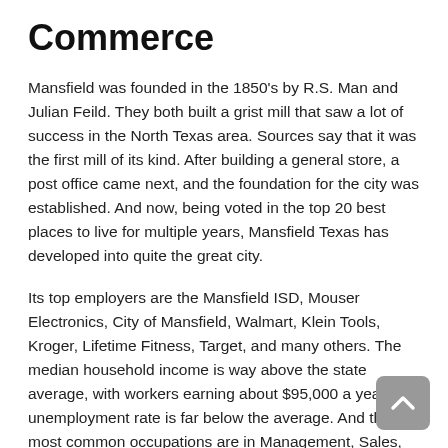Commerce
Mansfield was founded in the 1850's by R.S. Man and Julian Feild. They both built a grist mill that saw a lot of success in the North Texas area. Sources say that it was the first mill of its kind. After building a general store, a post office came next, and the foundation for the city was established. And now, being voted in the top 20 best places to live for multiple years, Mansfield Texas has developed into quite the great city.
Its top employers are the Mansfield ISD, Mouser Electronics, City of Mansfield, Walmart, Klein Tools, Kroger, Lifetime Fitness, Target, and many others. The median household income is way above the state average, with workers earning about $95,000 a year. The unemployment rate is far below the average. And the most common occupations are in Management, Sales, Office Admin, Installation and Maintenance, and Manufacturing.